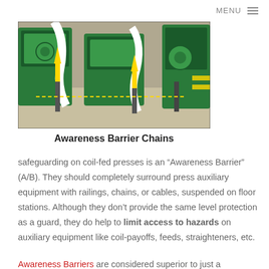MENU
[Figure (photo): Industrial factory floor with green coil-fed press machinery, yellow arrows pointing upward to yellow chain barriers suspended between floor stations]
Awareness Barrier Chains
safeguarding on coil-fed presses is an “Awareness Barrier” (A/B). They should completely surround press auxiliary equipment with railings, chains, or cables, suspended on floor stations. Although they don’t provide the same level protection as a guard, they do help to limit access to hazards on auxiliary equipment like coil-payoffs, feeds, straighteners, etc.
Awareness Barriers are considered superior to just a